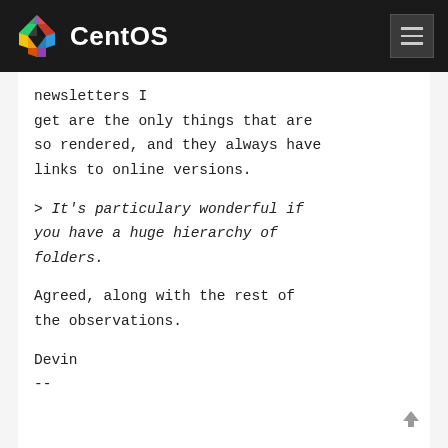CentOS
newsletters I get are the only things that are so rendered, and they always have links to online versions.
> It's particulary wonderful if you have a huge hierarchy of folders.
Agreed, along with the rest of the observations.
Devin
--